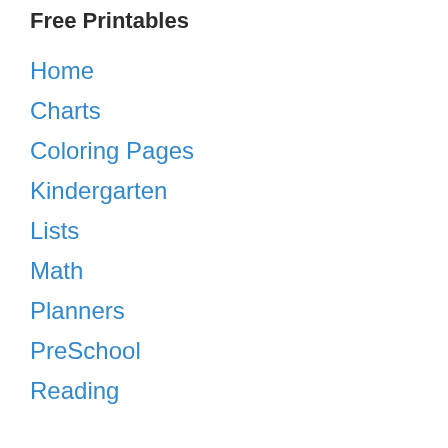Free Printables
Home
Charts
Coloring Pages
Kindergarten
Lists
Math
Planners
PreSchool
Reading